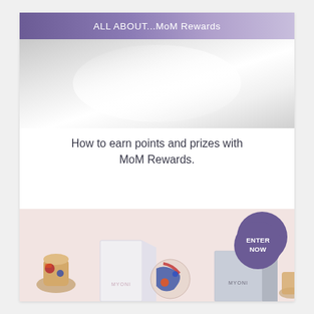[Figure (photo): Top banner with purple gradient header bar reading 'ALL ABOUT...MoM Rewards' and a light gray/silver gradient background below it (reflective surface area)]
How to earn points and prizes with MoM Rewards.
[Figure (photo): Product photo on pink background showing MYONI brand beauty products (boxes, beauty sponge, decorative ceramic vases) with a purple circle button labeled 'ENTER NOW' in the upper right]